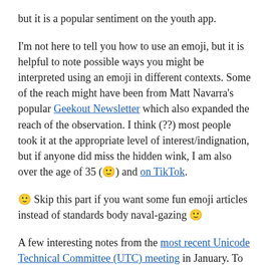but it is a popular sentiment on the youth app.
I'm not here to tell you how to use an emoji, but it is helpful to note possible ways you might be interpreted using an emoji in different contexts. Some of the reach might have been from Matt Navarra's popular Geekout Newsletter which also expanded the reach of the observation. I think (??) most people took it at the appropriate level of interest/indignation, but if anyone did miss the hidden wink, I am also over the age of 35 (🙂) and on TikTok.
🙂 Skip this part if you want some fun emoji articles instead of standards body naval-gazing 🙂
A few interesting notes from the most recent Unicode Technical Committee (UTC) meeting in January. To bring you up to speed: UTC is the meeting where decisions are made about which Unicode characters to approve. This